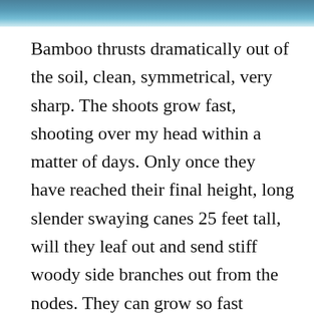[Figure (photo): Decorative header image with teal/blue tones, likely water or foliage background]
Bamboo thrusts dramatically out of the soil, clean, symmetrical, very sharp. The shoots grow fast, shooting over my head within a matter of days. Only once they have reached their final height, long slender swaying canes 25 feet tall, will they leaf out and send stiff woody side branches out from the nodes. They can grow so fast because all the structures of the full grown cane are already mostly present and developed inside